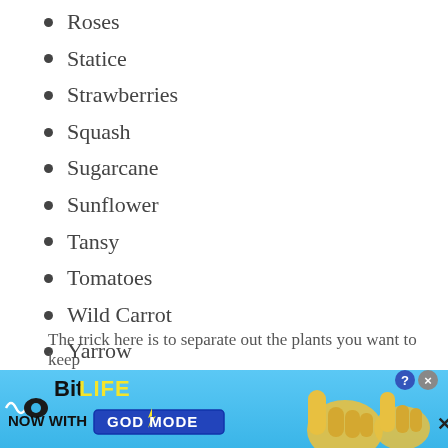Roses
Statice
Strawberries
Squash
Sugarcane
Sunflower
Tansy
Tomatoes
Wild Carrot
Yarrow
Yew
The trick here is to separate out the plants you want to keep
[Figure (other): BitLife advertisement banner with 'Now with GOD MODE' text, blue gradient background, illustrated hand pointing, and close/help buttons in the corner]